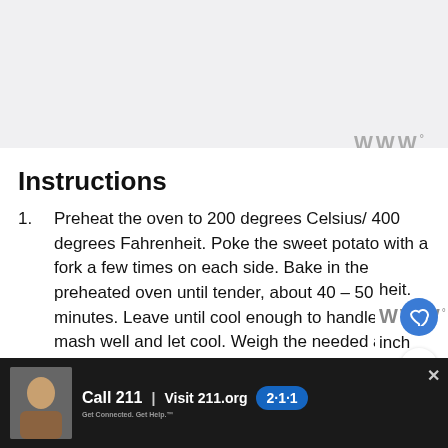[Figure (logo): Website logo/brand mark in gray with superscript degree symbol]
Instructions
Preheat the oven to 200 degrees Celsius/ 400 degrees Fahrenheit. Poke the sweet potato with a fork a few times on each side. Bake in the preheated oven until tender, about 40 – 50 minutes. Leave until cool enough to handle, peel, mash well and let cool. Weigh the needed amount and set it aside.
Reduce the oven temperature to 180
[Figure (screenshot): Advertisement banner: Call 211 | Visit 211.org with 2-1-1 logo in blue oval, photo of woman on phone, close button X]